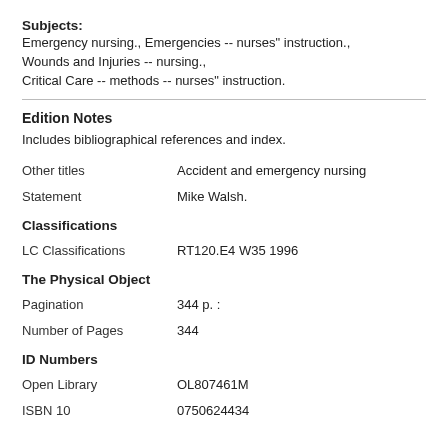Subjects: Emergency nursing., Emergencies -- nurses" instruction., Wounds and Injuries -- nursing., Critical Care -- methods -- nurses" instruction.
Edition Notes
Includes bibliographical references and index.
| Field | Value |
| --- | --- |
| Other titles | Accident and emergency nursing |
| Statement | Mike Walsh. |
Classifications
| Field | Value |
| --- | --- |
| LC Classifications | RT120.E4 W35 1996 |
The Physical Object
| Field | Value |
| --- | --- |
| Pagination | 344 p. : |
| Number of Pages | 344 |
ID Numbers
| Field | Value |
| --- | --- |
| Open Library | OL807461M |
| ISBN 10 | 0750624434 |